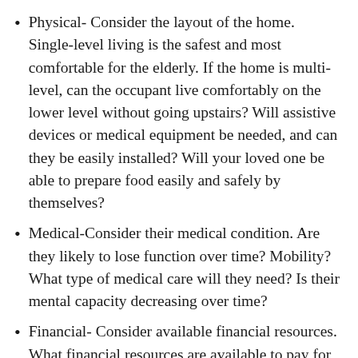Physical- Consider the layout of the home. Single-level living is the safest and most comfortable for the elderly. If the home is multi-level, can the occupant live comfortably on the lower level without going upstairs? Will assistive devices or medical equipment be needed, and can they be easily installed? Will your loved one be able to prepare food easily and safely by themselves?
Medical-Consider their medical condition. Are they likely to lose function over time? Mobility? What type of medical care will they need? Is their mental capacity decreasing over time?
Financial- Consider available financial resources. What financial resources are available to pay for care? Is there a long-term insurance policy available, and what does it cover? If not, are